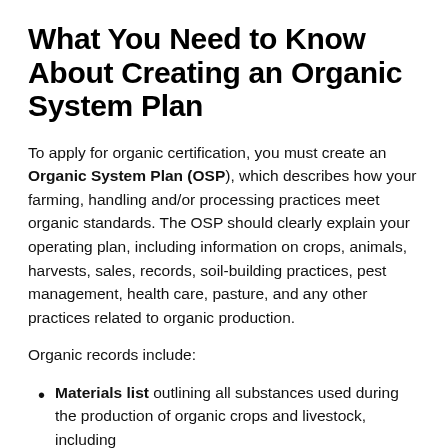What You Need to Know About Creating an Organic System Plan
To apply for organic certification, you must create an Organic System Plan (OSP), which describes how your farming, handling and/or processing practices meet organic standards. The OSP should clearly explain your operating plan, including information on crops, animals, harvests, sales, records, soil-building practices, pest management, health care, pasture, and any other practices related to organic production.
Organic records include:
Materials list outlining all substances used during the production of organic crops and livestock, including